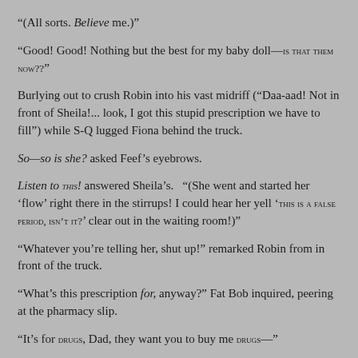“(All sorts.  Believe me.)”
“Good!  Good!  Nothing but the best for my baby doll—IS THAT THEM NOW??”
Burlying out to crush Robin into his vast midriff (“Daa-aad!  Not in front of Sheila!... look, I got this stupid prescription we have to fill”) while S-Q lugged Fiona behind the truck.
So—so is she? asked Feef’s eyebrows.
Listen to THIS! answered Sheila’s.  “(She went and started her ‘flow’ right there in the stirrups!  I could hear her yell ‘THIS IS A FALSE PERIOD, ISN’T IT?’ clear out in the waiting room!)”
“Whatever you’re telling her, shut up!” remarked Robin from in front of the truck.
“What’s this prescription for, anyway?” Fat Bob inquired, peering at the pharmacy slip.
“It’s for DRUGS, Dad, they want you to buy me DRUGS—”
“You watch it with that mouth of yours—”
“(Anyway,) Sheila continued in Fiona’s ear, “(they’ll run tests on her